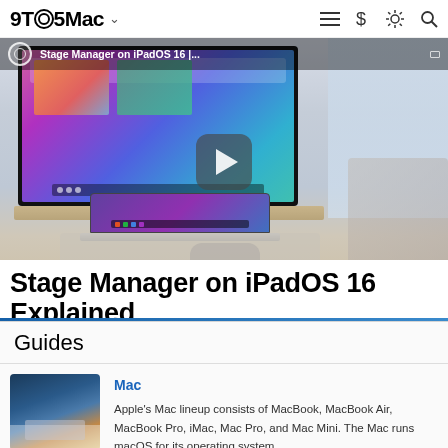9TO5Mac
[Figure (screenshot): Video thumbnail showing a Mac desk setup with a large monitor displaying Stage Manager on iPadOS 16, a MacBook, and various peripherals. Play button overlay in center. Label bar at top reads: Stage Manager on iPadOS 16 |...]
Stage Manager on iPadOS 16 Explained
Guides
[Figure (photo): Thumbnail photo of an iMac desktop computer on a white desk]
Mac
Apple's Mac lineup consists of MacBook, MacBook Air, MacBook Pro, iMac, Mac Pro, and Mac Mini. The Mac runs macOS for its operating system.